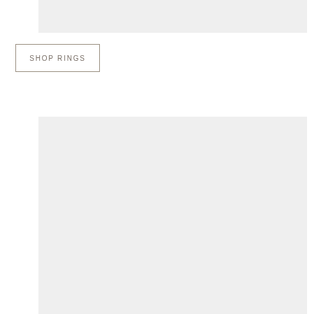[Figure (photo): Light gray image placeholder block at top of page]
SHOP RINGS
[Figure (photo): Large light gray image placeholder block in lower portion of page]